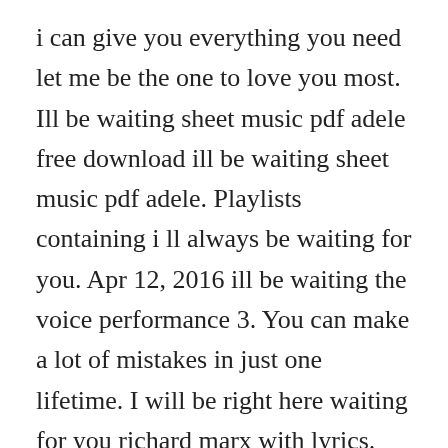i can give you everything you need let me be the one to love you most. Ill be waiting sheet music pdf adele free download ill be waiting sheet music pdf adele. Playlists containing i ll always be waiting for you. Apr 12, 2016 ill be waiting the voice performance 3. You can make a lot of mistakes in just one lifetime. I will be right here waiting for you richard marx with lyrics.
Let me stay here for just one more night build your world around me. Ill be waiting joe chibangu ft kmillian official hd. Ill be waiting